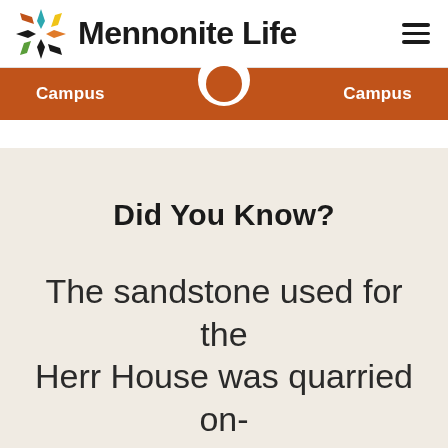Mennonite Life
[Figure (logo): Mennonite Life logo: colorful 8-pointed star/flower and bold text 'Mennonite Life']
Campus  Campus
Did You Know?
The sandstone used for the Herr House was quarried on-